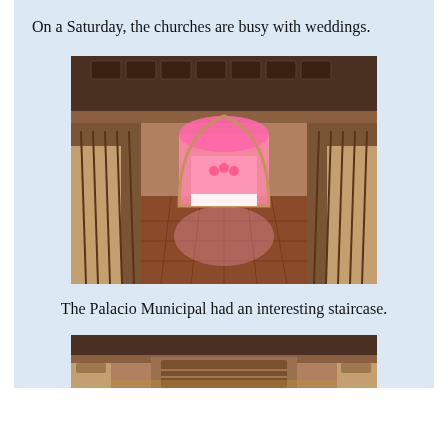On a Saturday, the churches are busy with weddings.
[Figure (photo): Interior photo of the Palacio Municipal showing a grand staircase hallway with ornate railings on both sides, a decorative ceiling with coffered panels, terracotta tile floor, and a pink-lit arched doorway at the far end.]
The Palacio Municipal had an interesting staircase.
[Figure (photo): Partial view of the Palacio Municipal interior, showing the upper portion of ornate columns and decorative ceiling details in warm brown and terracotta tones.]